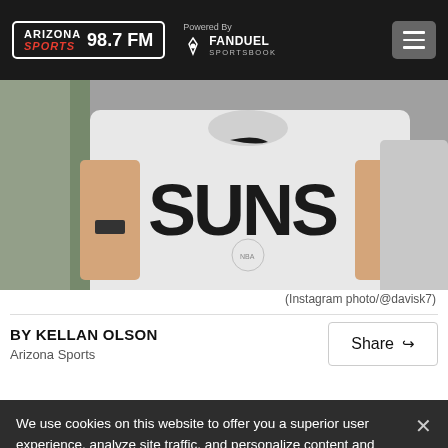Arizona Sports 98.7 FM — Powered By FanDuel Sportsbook
[Figure (photo): Person wearing a Phoenix Suns white Nike jersey, cropped photo showing torso area]
(Instagram photo/@davisk7)
BY KELLAN OLSON
Arizona Sports
Share
We use cookies on this website to offer you a superior user experience, analyze site traffic, and personalize content and advertisements. By continuing to use our site, you consent to our use of cookies. Please visit our Privacy Policy for more information.